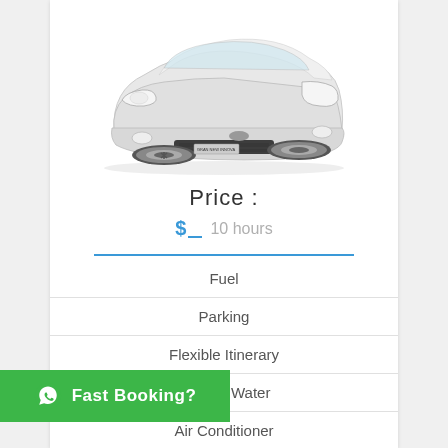[Figure (photo): White Toyota Innova/Kijang car, front-angled view on white background]
Price :
$ _ 10 hours
Fuel
Parking
Flexible Itinerary
Mineral Water
Air Conditioner
English Speaking Driver
Fast Booking?